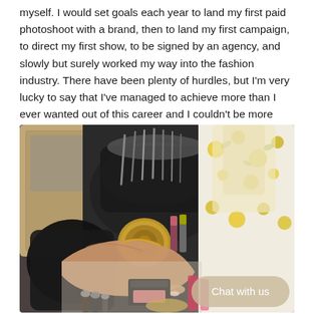myself. I would set goals each year to land my first paid photoshoot with a brand, then to land my first campaign, to direct my first show, to be signed by an agency, and slowly but surely worked my way into the fashion industry. There have been plenty of hurdles, but I'm very lucky to say that I've managed to achieve more than I ever wanted out of this career and I couldn't be more grateful for every opportunity I've been given.
[Figure (photo): A photo of a person in a white and yellow floral outfit reaching toward a makeup table covered with various makeup products, brushes, and a clear makeup bag. A mirror is visible on the left. A 'Chat with us' button overlay appears in the bottom right.]